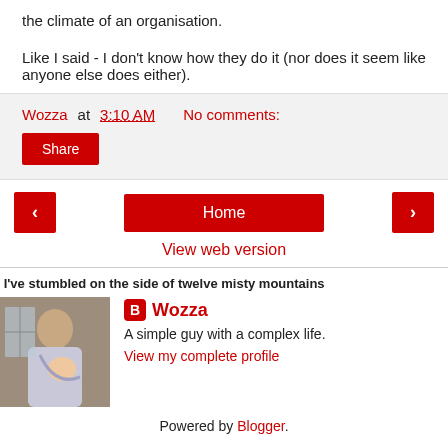the climate of an organisation.
Like I said - I don't know how they do it (nor does it seem like anyone else does either).
Wozza at 3:10 AM   No comments:
Share
‹   Home   ›
View web version
I've stumbled on the side of twelve misty mountains
[Figure (photo): Profile photo of Wozza - a person holding a baby]
Wozza
A simple guy with a complex life.
View my complete profile
Powered by Blogger.